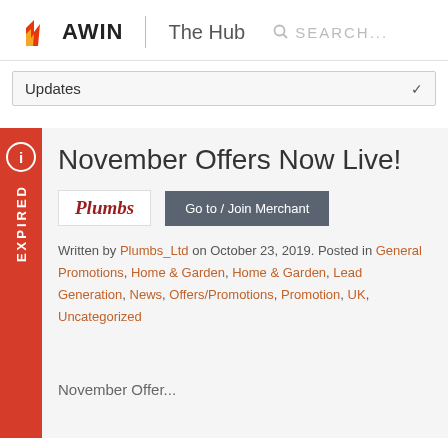AWIN | The Hub  SEARCH...
Updates
November Offers Now Live!
[Figure (logo): Plumbs logo in red italic serif font inside a white bordered box]
Go to / Join Merchant
Written by Plumbs_Ltd on October 23, 2019. Posted in General Promotions, Home & Garden, Home & Garden, Lead Generation, News, Offers/Promotions, Promotion, UK, Uncategorized
November Offer...